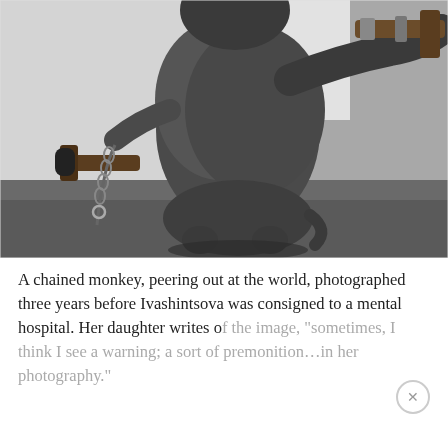[Figure (photo): Black and white photograph of a chained monkey viewed from behind, peering out at the world. The monkey holds onto what appears to be a wooden bar or frame, with a chain visible on its left side. The background shows a light-colored wall or window.]
A chained monkey, peering out at the world, photographed three years before Ivashintsova was consigned to a mental hospital. Her daughter writes of the image, "sometimes, I think I see a warning; a sort of premonition…in her photography."